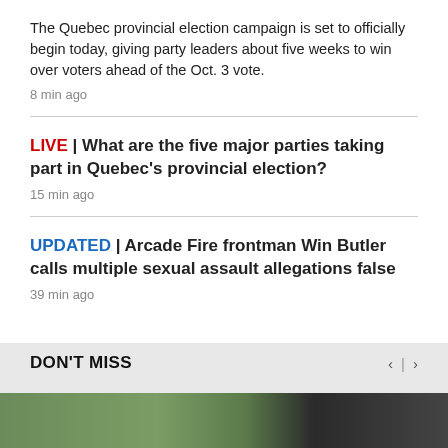The Quebec provincial election campaign is set to officially begin today, giving party leaders about five weeks to win over voters ahead of the Oct. 3 vote.
8 min ago
LIVE | What are the five major parties taking part in Quebec's provincial election?
15 min ago
UPDATED | Arcade Fire frontman Win Butler calls multiple sexual assault allegations false
39 min ago
DON'T MISS